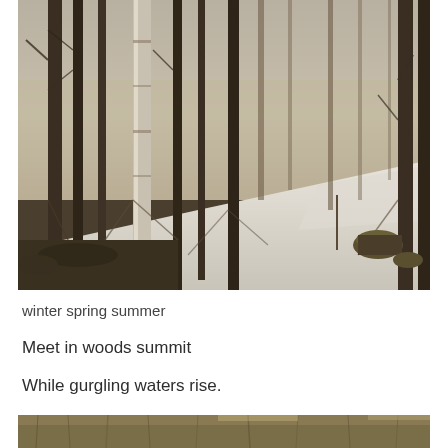[Figure (photo): Winter forest scene with bare birch and deciduous trees casting shadows on a snow-covered slope. The background shows a misty, overcast sky through the tree trunks. Some moss-covered rocks or stumps visible at the base of trees.]
winter spring summer
Meet in woods summit
While gurgling waters rise.
[Figure (photo): Partial view of another outdoor nature photograph at the bottom of the page, cropped.]